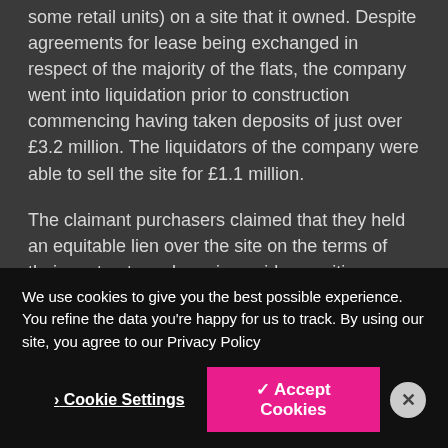some retail units) on a site that it owned. Despite agreements for lease being exchanged in respect of the majority of the flats, the company went into liquidation prior to construction commencing having taken deposits of just over £3.2 million. The liquidators of the company were able to sell the site for £1.1 million.
The claimant purchasers claimed that they held an equitable lien over the site on the terms of their contracts and monies paid, a positive outcome crucially meaning that they would rank as secured creditors in the liquidation, the company having no further assets for disposal. The case thus turned on whether (i) such liens could exist over something on which construction
We use cookies to give you the best possible experience. You refine the data you're happy for us to track. By using our site, you agree to our Privacy Policy